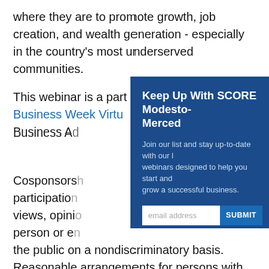where they are to promote growth, job creation, and wealth generation - especially in the country's most underserved communities.
This webinar is a part of the National Small Business Week Virtu[al Summit. Presented by the Small Business Ac...]
Cosponsors[hip does not constitute an endorsement of any views, opinions, products or services. SBA programs are available to] the public on a nondiscriminatory basis. Reasonable arrangements for persons with disabilities will be made, if requested at least 2 weeks in advance. Contact SBA, 409 3rd St, SW. Washington DC 20416 or
[Figure (other): Modal popup overlay: 'Keep Up With SCORE Modesto-Merced' with text 'Join our list and stay up-to-date with our latest webinars designed to help you start and grow a successful business.' and an email address input field with a SUBMIT button.]